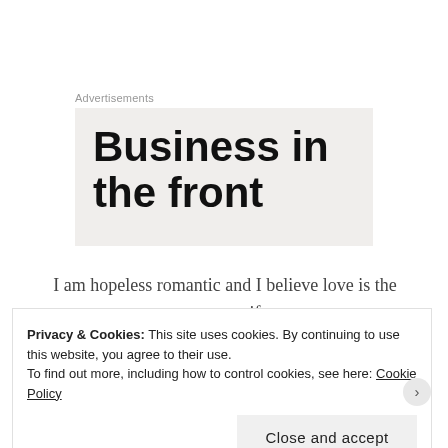Advertisements
[Figure (other): Advertisement banner with large bold text reading 'Business in the front' on a light beige background]
I am hopeless romantic and I believe love is the greatest gift.
I am into dancing but I am not proud of my dancing skills.
Privacy & Cookies: This site uses cookies. By continuing to use this website, you agree to their use.
To find out more, including how to control cookies, see here: Cookie Policy
Close and accept